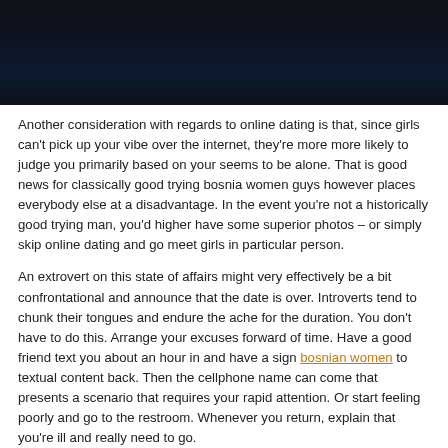[Figure (photo): Dark photograph strip at top of page, appears to show a dimly lit scene with dark tones of navy and black]
Another consideration with regards to online dating is that, since girls can't pick up your vibe over the internet, they're more more likely to judge you primarily based on your seems to be alone. That is good news for classically good trying bosnia women guys however places everybody else at a disadvantage. In the event you're not a historically good trying man, you'd higher have some superior photos – or simply skip online dating and go meet girls in particular person.
An extrovert on this state of affairs might very effectively be a bit confrontational and announce that the date is over. Introverts tend to chunk their tongues and endure the ache for the duration. You don't have to do this. Arrange your excuses forward of time. Have a good friend text you about an hour in and have a sign bosnian women to textual content back. Then the cellphone name can come that presents a scenario that requires your rapid attention. Or start feeling poorly and go to the restroom. Whenever you return, explain that you're ill and really need to go.
In the event you try to adopt non-needy behaviors in an try and impress others, you're nonetheless being needy. You are faking it, and you'll bosnian women finally be exposed. The only method to develop a real attraction by girls is by genuinely investing in your self.